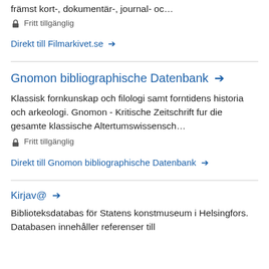främst kort-, dokumentär-, journal- oc…
🔒 Fritt tillgänglig
Direkt till Filmarkivet.se →
Gnomon bibliographische Datenbank →
Klassisk fornkunskap och filologi samt forntidens historia och arkeologi. Gnomon - Kritische Zeitschrift fur die gesamte klassische Altertumswissensch…
🔒 Fritt tillgänglig
Direkt till Gnomon bibliographische Datenbank →
Kirjav@ →
Biblioteksdatabas för Statens konstmuseum i Helsingfors. Databasen innehåller referenser till